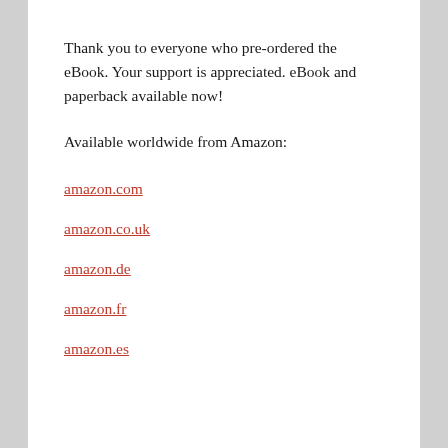Thank you to everyone who pre-ordered the eBook. Your support is appreciated. eBook and paperback available now!
Available worldwide from Amazon:
amazon.com
amazon.co.uk
amazon.de
amazon.fr
amazon.es